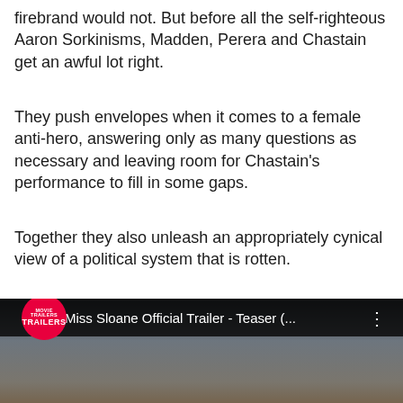firebrand would not. But before all the self-righteous Aaron Sorkinisms, Madden, Perera and Chastain get an awful lot right.
They push envelopes when it comes to a female anti-hero, answering only as many questions as necessary and leaving room for Chastain’s performance to fill in some gaps.
Together they also unleash an appropriately cynical view of a political system that is rotten.
VERDICT: ★★★☆☆ (3 out of 5 stars)
[Figure (screenshot): YouTube video thumbnail for Miss Sloane Official Trailer - Teaser, showing a woman's face and a red Trailers badge logo]